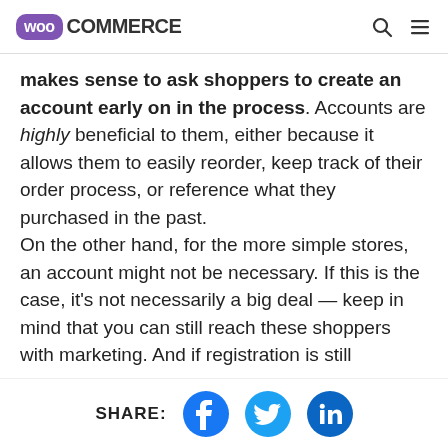WooCommerce
makes sense to ask shoppers to create an account early on in the process. Accounts are highly beneficial to them, either because it allows them to easily reorder, keep track of their order process, or reference what they purchased in the past.

On the other hand, for the more simple stores, an account might not be necessary. If this is the case, it’s not necessarily a big deal — keep in mind that you can still reach these shoppers with marketing. And if registration is still
SHARE: